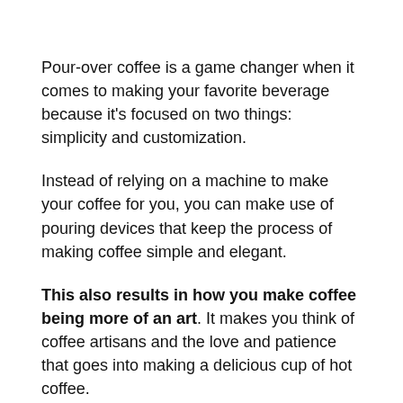Pour-over coffee is a game changer when it comes to making your favorite beverage because it's focused on two things: simplicity and customization.
Instead of relying on a machine to make your coffee for you, you can make use of pouring devices that keep the process of making coffee simple and elegant.
This also results in how you make coffee being more of an art. It makes you think of coffee artisans and the love and patience that goes into making a delicious cup of hot coffee.
When it comes to customization, pour-over coffee